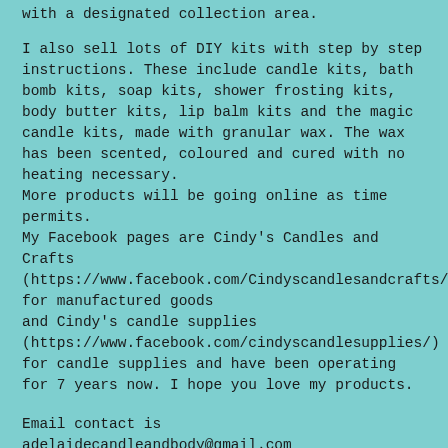with a designated collection area.
I also sell lots of DIY kits with step by step instructions. These include candle kits, bath bomb kits, soap kits, shower frosting kits, body butter kits, lip balm kits and the magic candle kits, made with granular wax. The wax has been scented, coloured and cured with no heating necessary. More products will be going online as time permits. My Facebook pages are Cindy's Candles and Crafts (https://www.facebook.com/Cindyscandlesandcrafts/) for manufactured goods and Cindy's candle supplies (https://www.facebook.com/cindyscandlesupplies/) for candle supplies and have been operating for 7 years now. I hope you love my products.
Email contact is adelaidecandleandbody@gmail.com